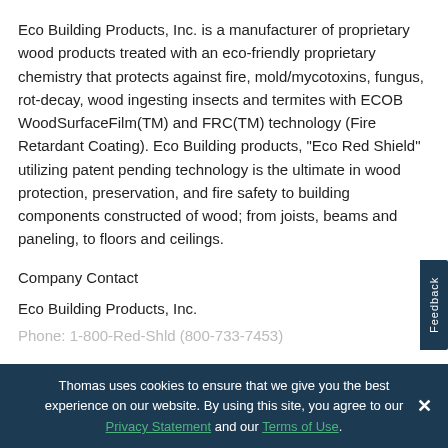Eco Building Products, Inc. is a manufacturer of proprietary wood products treated with an eco-friendly proprietary chemistry that protects against fire, mold/mycotoxins, fungus, rot-decay, wood ingesting insects and termites with ECOB WoodSurfaceFilm(TM) and FRC(TM) technology (Fire Retardant Coating). Eco Building products, "Eco Red Shield" utilizing patent pending technology is the ultimate in wood protection, preservation, and fire safety to building components constructed of wood; from joists, beams and paneling, to floors and ceilings.
Company Contact
Eco Building Products, Inc.
Phone: 1-800-Red-Shld (800-733-7453)
Thomas uses cookies to ensure that we give you the best experience on our website. By using this site, you agree to our Privacy Statement and our Terms of Use.